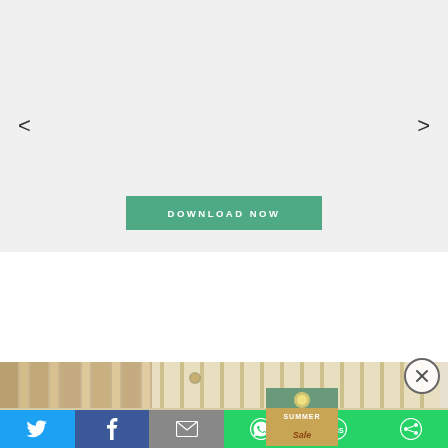[Figure (screenshot): Slideshow/carousel area with light gray background, left and right navigation arrows, and a green DOWNLOAD NOW button at bottom center]
[Figure (photo): Horizontal photo strip showing a hotel or retail interior with warm lighting, columns, and shelving]
SUMMER SALE
[Figure (photo): Small thumbnail image showing Summer Sale promotional graphic with gold/green tones]
[Figure (infographic): Social share bar with Twitter (blue), Facebook (dark blue), Email (gray), WhatsApp (green), SMS (green), and More/share (green) buttons]